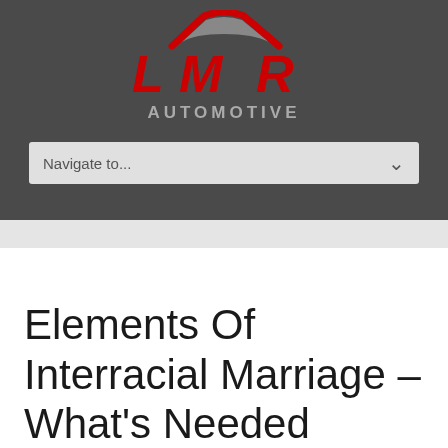[Figure (logo): LMR Automotive logo with red stylized LMR lettering and gray automotive roof shape above, AUTOMOTIVE text in gray below, on dark gray background]
Navigate to...
Elements Of Interracial Marriage – What's Needed